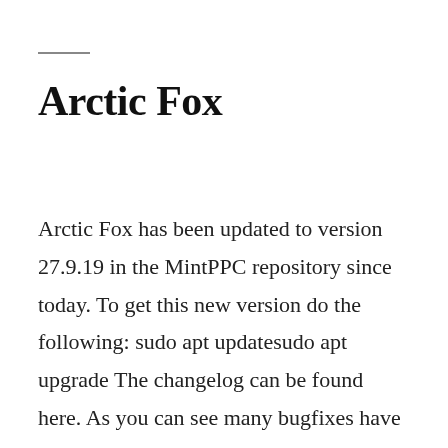Arctic Fox
Arctic Fox has been updated to version 27.9.19 in the MintPPC repository since today. To get this new version do the following: sudo apt updatesudo apt upgrade The changelog can be found here. As you can see many bugfixes have been applied. The work is truly impressive. Thanks to wicknix,